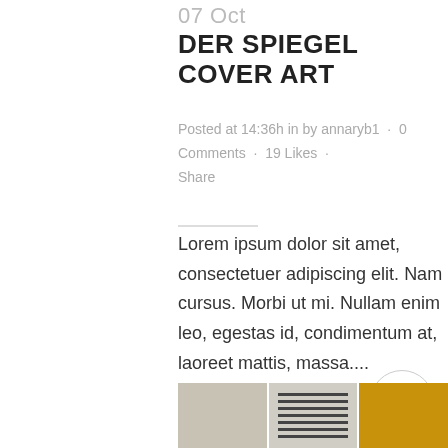07 OCT DER SPIEGEL COVER ART
Posted at 14:36h in by annaryb1 · 0 Comments · 19 Likes · Share
Lorem ipsum dolor sit amet, consectetuer adipiscing elit. Nam cursus. Morbi ut mi. Nullam enim leo, egestas id, condimentum at, laoreet mattis, massa....
READ MORE
[Figure (illustration): Circular button with upward arrow for scrolling to top]
[Figure (photo): Bottom strip showing three image segments: dark folded item, striped fabric, and mustard/yellow knit item]